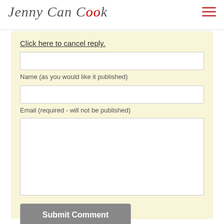Jenny Can Cook
Click here to cancel reply.
Name (as you would like it published)
Email (required - will not be published)
Submit Comment